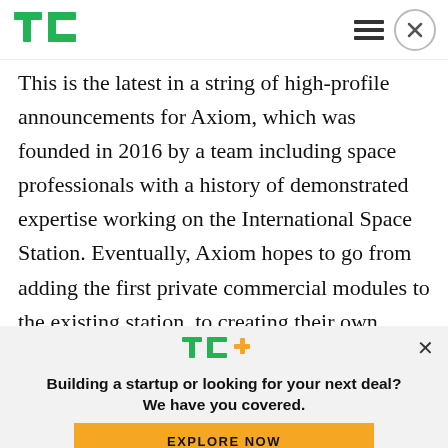TechCrunch - TC logo and navigation
This is the latest in a string of high-profile announcements for Axiom, which was founded in 2016 by a team including space professionals with a history of demonstrated expertise working on the International Space Station. Eventually, Axiom hopes to go from adding the first private commercial modules to the existing station, to creating their own, wholly private on-orbital
[Figure (logo): TC+ logo with green TC letters and orange plus sign]
Building a startup or looking for your next deal? We have you covered.
EXPLORE NOW